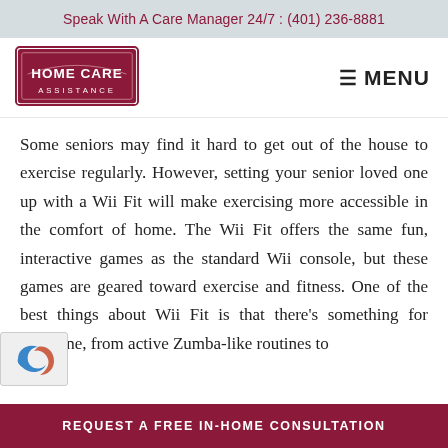Speak With A Care Manager 24/7 :  (401) 236-8881
[Figure (logo): Home Care Assistance logo — dark red shield/arch shape with white text HOME CARE ASSISTANCE]
≡ MENU
Some seniors may find it hard to get out of the house to exercise regularly. However, setting your senior loved one up with a Wii Fit will make exercising more accessible in the comfort of home. The Wii Fit offers the same fun, interactive games as the standard Wii console, but these games are geared toward exercise and fitness. One of the best things about Wii Fit is that there's something for everyone, from active Zumba-like routines to
REQUEST A FREE IN-HOME CONSULTATION